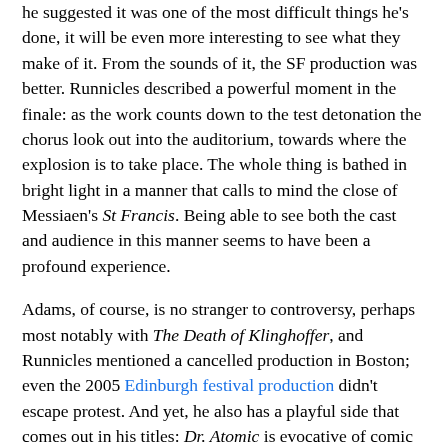he suggested it was one of the most difficult things he's done, it will be even more interesting to see what they make of it. From the sounds of it, the SF production was better. Runnicles described a powerful moment in the finale: as the work counts down to the test detonation the chorus look out into the auditorium, towards where the explosion is to take place. The whole thing is bathed in bright light in a manner that calls to mind the close of Messiaen's St Francis. Being able to see both the cast and audience in this manner seems to have been a profound experience.
Adams, of course, is no stranger to controversy, perhaps most notably with The Death of Klinghoffer, and Runnicles mentioned a cancelled production in Boston; even the 2005 Edinburgh festival production didn't escape protest. And yet, he also has a playful side that comes out in his titles: Dr. Atomic is evocative of comic books and then are the likes of his Short Ride in a Fast Machine.
But Adams isn't the only American composer with whom Runnicles is familiar. However, the others mentioned were all unknown to me. They form part of the Atlanta School of